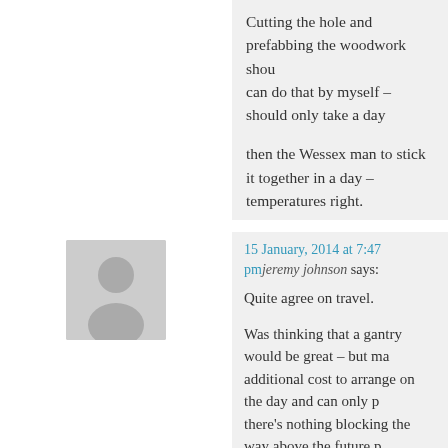Cutting the hole and prefabbing the woodwork shou can do that by myself – should only take a day
then the Wessex man to stick it together in a day – temperatures right.
three days… of course it is a stupidly optimistic targ
but it is better to travel in hope than not travel at all
D
15 January, 2014 at 7:47 pm jeremy johnson says:
Quite agree on travel.
Was thinking that a gantry would be great – but ma additional cost to arrange on the day and can only p there's nothing blocking the way above the future p other hand a small crowd armed with some determ mobile.
I found getting sufficient temperature last winter wh most troublesome – hope the weather is more favo
I don't know of any Centaurs but if you want some